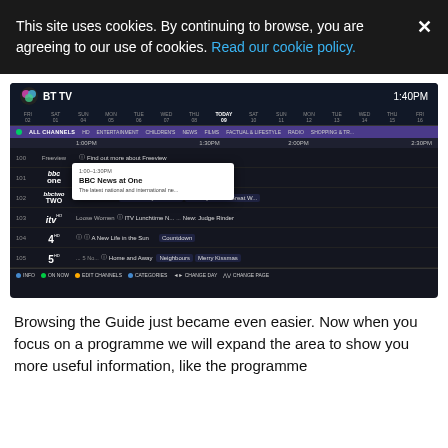This site uses cookies. By continuing to browse, you are agreeing to our use of cookies. Read our cookie policy.
[Figure (screenshot): BT TV electronic programme guide showing channels 100-105 with a tooltip popup for BBC News at One on channel 101. The guide shows times from 1:00PM to 2:30PM with channels including Freeview, BBC One, BBC Two, ITV, Channel 4, and Channel 5.]
Browsing the Guide just became even easier. Now when you focus on a programme we will expand the area to show you more useful information, like the programme